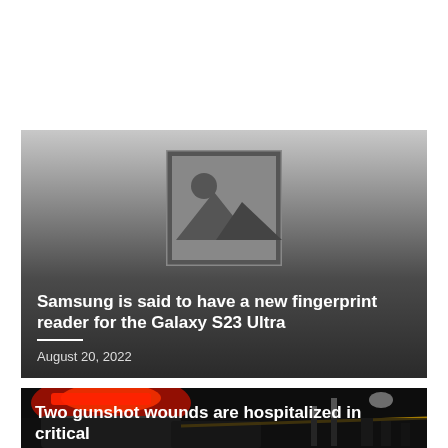[Figure (photo): News article card with placeholder image icon on grey gradient background. Shows a generic image placeholder (mountain/landscape icon) on gradient background.]
Samsung is said to have a new fingerprint reader for the Galaxy S23 Ultra
August 20, 2022
[Figure (photo): Night scene photo showing police vehicle with red flashing lights and crime scene tape, dark background with figures visible in distance.]
Two gunshot wounds are hospitalized in critical